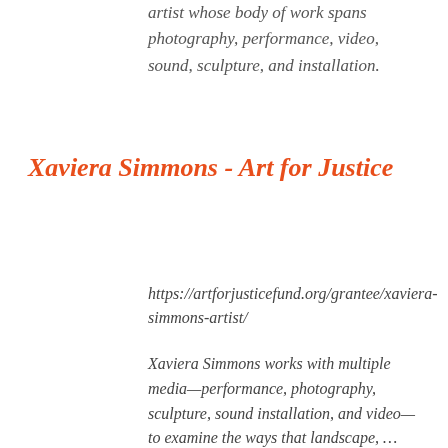artist whose body of work spans photography, performance, video, sound, sculpture, and installation.
Xaviera Simmons - Art for Justice
https://artforjusticefund.org/grantee/xaviera-simmons-artist/
Xaviera Simmons works with multiple media—performance, photography, sculpture, sound installation, and video—to examine the ways that landscape, …